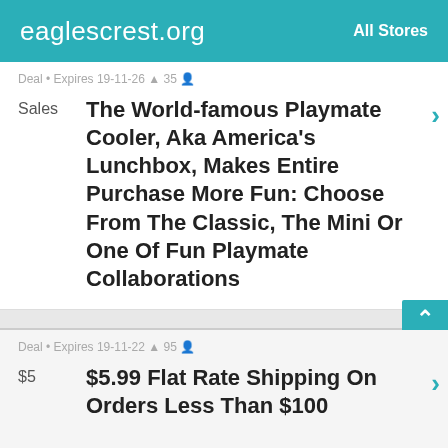eaglescrest.org   All Stores
Deal • Expires 19-11-26 🔔 35 👤
Sales   The World-famous Playmate Cooler, Aka America's Lunchbox, Makes Entire Purchase More Fun: Choose From The Classic, The Mini Or One Of Fun Playmate Collaborations
Deal • Expires 19-11-22 🔔 95 👤
$5   $5.99 Flat Rate Shipping On Orders Less Than $100